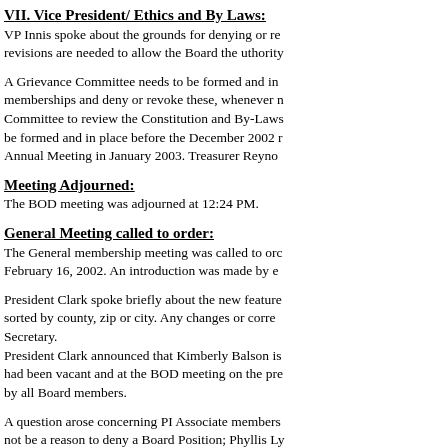VII.  Vice President/ Ethics and By Laws:
VP Innis spoke about the grounds for denying or re revisions are needed to allow the Board the uthority
A Grievance Committee needs to be formed and in memberships and deny or revoke these, whenever n Committee to review the Constitution and By-Laws be formed and in place before the December 2002 r Annual Meeting in January 2003.  Treasurer Reyno
Meeting Adjourned:
The BOD meeting was adjourned at 12:24 PM.
General Meeting called to order:
The General membership meeting was called to ord February 16, 2002.  An introduction was made by e
President Clark spoke briefly about the new feature sorted by county, zip or city.  Any changes or corre Secretary. President Clark announced that Kimberly Balson is had been vacant and at the BOD meeting on the pre by all Board members.
A question arose concerning PI Associate members not be a reason to deny a Board Position; Phyllis Ly Associate.